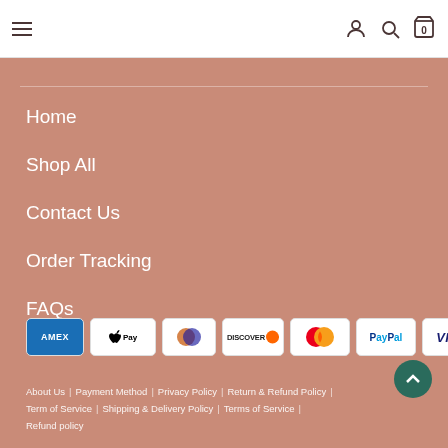Navigation header with hamburger menu, user icon, search icon, cart (0)
Home
Shop All
Contact Us
Order Tracking
FAQs
[Figure (other): Payment method icons: AMEX, Apple Pay, Diners Club, Discover, Mastercard, PayPal, Visa]
About Us | Payment Method | Privacy Policy | Return & Refund Policy | Term of Service | Shipping & Delivery Policy | Terms of Service | Refund policy